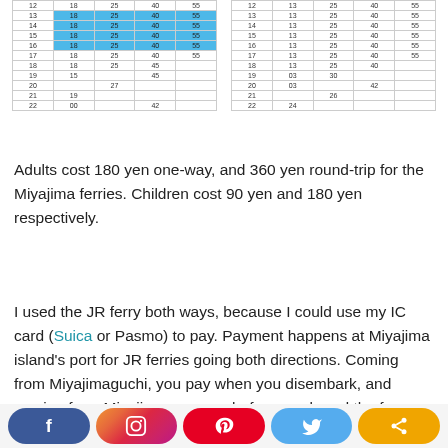[Figure (table-as-image): Partial ferry timetable showing two side-by-side schedule tables with row numbers 12-22 and columns with times, some rows highlighted in blue]
Adults cost 180 yen one-way, and 360 yen round-trip for the Miyajima ferries. Children cost 90 yen and 180 yen respectively.
I used the JR ferry both ways, because I could use my IC card (Suica or Pasmo) to pay. Payment happens at Miyajima island's port for JR ferries going both directions. Coming from Miyajimaguchi, you pay when you disembark, and coming from Miyajima, you pay before you board the ferry.
[Figure (infographic): Social media share buttons: Facebook, Instagram, Pinterest, Twitter, Share]